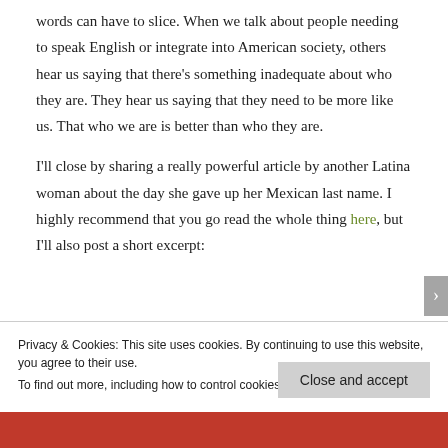words can have to slice. When we talk about people needing to speak English or integrate into American society, others hear us saying that there's something inadequate about who they are. They hear us saying that they need to be more like us. That who we are is better than who they are.
I'll close by sharing a really powerful article by another Latina woman about the day she gave up her Mexican last name. I highly recommend that you go read the whole thing here, but I'll also post a short excerpt:
Privacy & Cookies: This site uses cookies. By continuing to use this website, you agree to their use. To find out more, including how to control cookies, see here: Cookie Policy